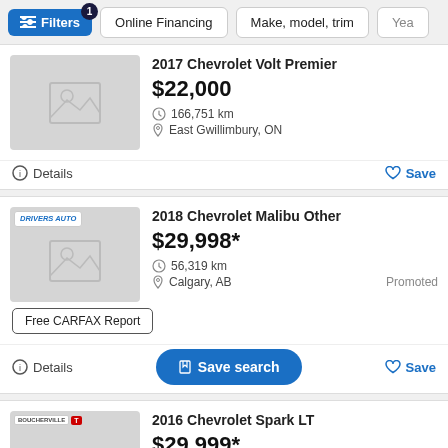Filters · Online Financing · Make, model, trim · Year
2017 Chevrolet Volt Premier
$22,000
166,751 km
East Gwillimbury, ON
Details   Save
2018 Chevrolet Malibu Other
$29,998*
56,319 km
Calgary, AB
Promoted
Free CARFAX Report
Details   Save search   Save
2016 Chevrolet Spark LT
$29,999*